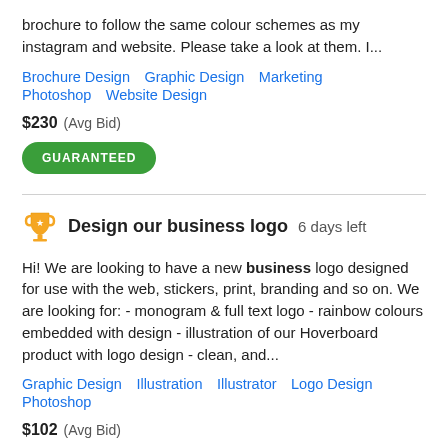brochure to follow the same colour schemes as my instagram and website. Please take a look at them. I...
Brochure Design   Graphic Design   Marketing   Photoshop   Website Design
$230  (Avg Bid)
GUARANTEED
Design our business logo  6 days left
Hi! We are looking to have a new business logo designed for use with the web, stickers, print, branding and so on. We are looking for: - monogram & full text logo - rainbow colours embedded with design - illustration of our Hoverboard product with logo design - clean, and...
Graphic Design   Illustration   Illustrator   Logo Design   Photoshop
$102  (Avg Bid)